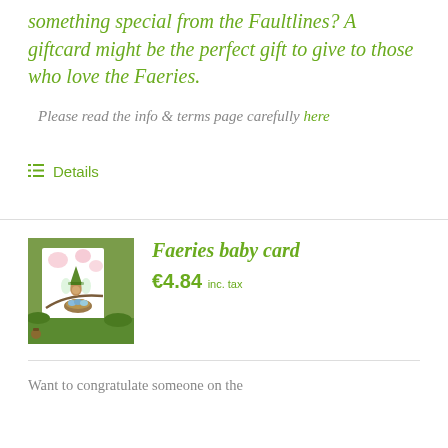something special from the Faultlines? A giftcard might be the perfect gift to give to those who love the Faeries.
Please read the info & terms page carefully here
Details
[Figure (photo): Photo of a Faeries baby card product showing a fairy scene with a nest containing blue eggs, surrounded by moss and natural elements]
Faeries baby card
€4.84 inc. tax
Want to congratulate someone on the